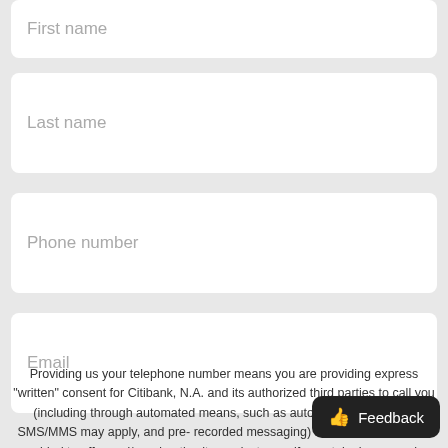First name
Last name
Phone number
Email
Providing us your telephone number means you are providing express "written" consent for Citibank, N.A. and its authorized third parties to call you (including through automated means, such as autodialing, text where SMS/MMS may apply, and pre-recorded messaging) at the number and/or provided to offer and/or advertise its product even if your telephone number is currently listed on any
Feedback